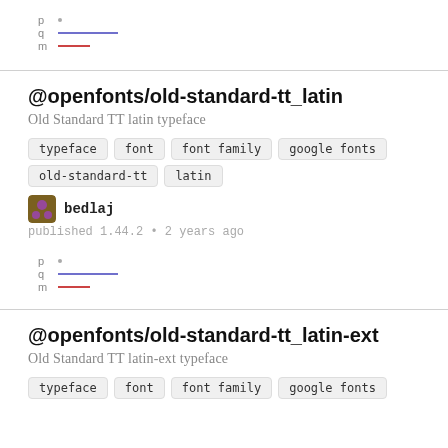[Figure (illustration): Font preview showing p, q, m labels with colored lines (blue and red)]
@openfonts/old-standard-tt_latin
Old Standard TT latin typeface
typeface
font
font family
google fonts
old-standard-tt
latin
bedlaj
published 1.44.2 • 2 years ago
[Figure (illustration): Font preview showing p, q, m labels with colored lines (blue and red)]
@openfonts/old-standard-tt_latin-ext
Old Standard TT latin-ext typeface
typeface
font
font family
google fonts